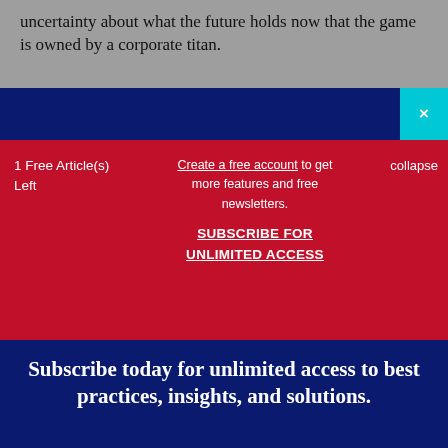uncertainty about what the future holds now that the game is owned by a corporate titan.
1 Free Article(s) Left
Create a free account to get more features and free newsletters.
SUBSCRIBE FOR UNLIMITED ACCESS
collapse
Subscribe today for unlimited access to best practices, insights, and solutions.
SUBSCRIBE